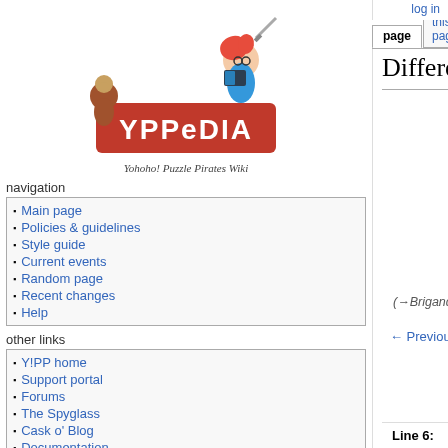log in
[Figure (logo): YPPedia - Yohoho! Puzzle Pirates Wiki logo with cartoon pirate and monkey character]
navigation
Main page
Policies & guidelines
Style guide
Current events
Random page
Recent changes
Help
other links
Y!PP home
Support portal
Forums
The Spyglass
Cask o' Blog
Documentation
German wiki
Difference between revisions of "Brigand King"
| Revision as of 08:52, 17 December 2014 (view source) | Latest revision as of 19:00, 4 September 2021 (view source) |
| --- | --- |
| Thunderbird (talk | contribs) | Powerz (talk | contribs) |
| (→Brigand King's ship: BKs don't wait a minimum of a week) | m (Removed reference to pirate badge required to receive BK trinket) |
| ← Previous diff |  |
(4 intermediate revisions by 3 users not shown)
Line 6:
Line 6: